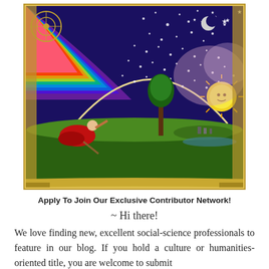[Figure (illustration): Colorful version of the Flammarion engraving showing a traveler peering through the cosmic firmament, with stars, moon, rainbows, a sun with a face, a tree, and a medieval landscape.]
Apply To Join Our Exclusive Contributor Network!
~ Hi there!
We love finding new, excellent social-science professionals to feature in our blog. If you hold a culture or humanities-oriented title, you are welcome to submit